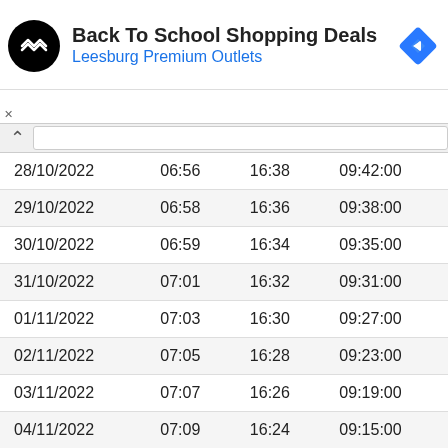[Figure (other): Advertisement banner for Back To School Shopping Deals at Leesburg Premium Outlets with logo and navigation icon]
Back To School Shopping Deals
Leesburg Premium Outlets
| 28/10/2022 | 06:56 | 16:38 | 09:42:00 |
| 29/10/2022 | 06:58 | 16:36 | 09:38:00 |
| 30/10/2022 | 06:59 | 16:34 | 09:35:00 |
| 31/10/2022 | 07:01 | 16:32 | 09:31:00 |
| 01/11/2022 | 07:03 | 16:30 | 09:27:00 |
| 02/11/2022 | 07:05 | 16:28 | 09:23:00 |
| 03/11/2022 | 07:07 | 16:26 | 09:19:00 |
| 04/11/2022 | 07:09 | 16:24 | 09:15:00 |
| 05/11/2022 | 07:11 | 16:22 | 09:11:00 |
| 06/11/2022 | 07:13 | 16:20 | 09:07:00 |